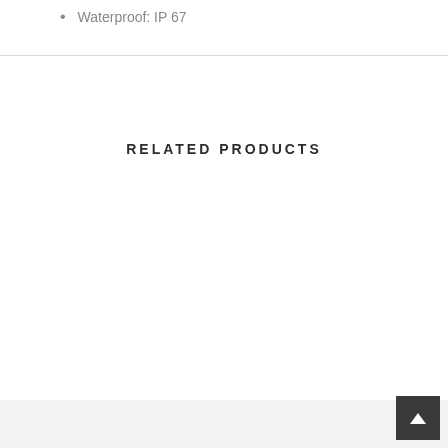Waterproof: IP 67
RELATED PRODUCTS